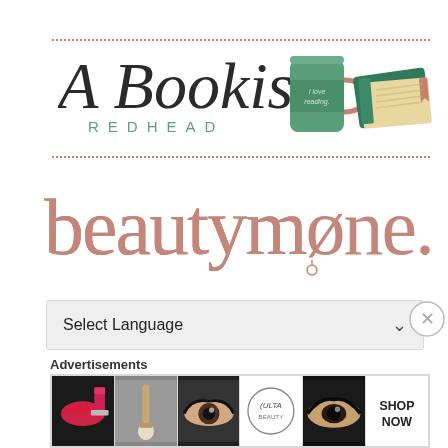[Figure (logo): A Bookish Redhead blog logo with script text, 'REDHEAD' in spaced green capitals, and an illustration of a green coffee cup labeled 'I love reading' and green books with a bookmark, framed by dotted salmon/coral borders top and bottom]
[Figure (logo): beautymøne. logo in rose/dusty pink serif font with a stylized 'ø' containing a small dangling charm]
Select Language
Advertisements
[Figure (infographic): Advertisements banner strip showing beauty/makeup imagery: lips with lipstick, makeup brush, eye with dramatic makeup, ULTA Beauty logo, smoky eye close-up, and SHOP NOW text panel]